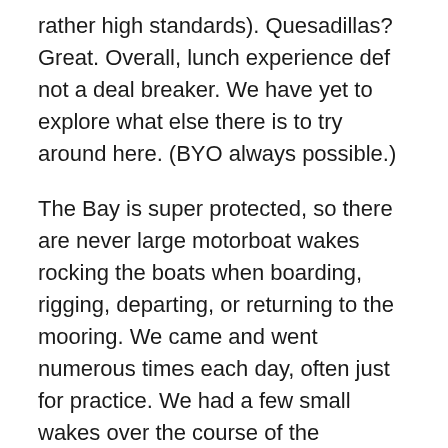rather high standards). Quesadillas? Great. Overall, lunch experience def not a deal breaker. We have yet to explore what else there is to try around here. (BYO always possible.)
The Bay is super protected, so there are never large motorboat wakes rocking the boats when boarding, rigging, departing, or returning to the mooring. We came and went numerous times each day, often just for practice. We had a few small wakes over the course of the weekend; nothing that interfered with anything.
Getting out from the Bay to Rockaway Inlet, the large, wide body of water around the corner? It was anywhere from very manageable to easy at all times.